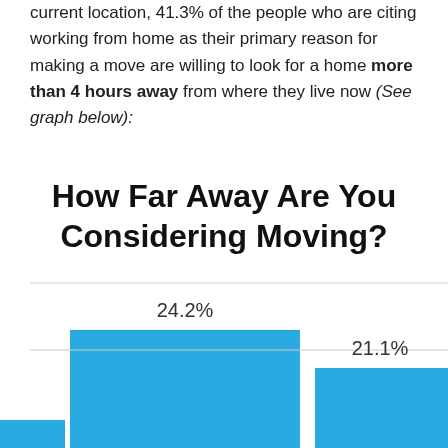current location, 41.3% of the people who are citing working from home as their primary reason for making a move are willing to look for a home more than 4 hours away from where they live now (See graph below):
[Figure (bar-chart): How Far Away Are You Considering Moving?]